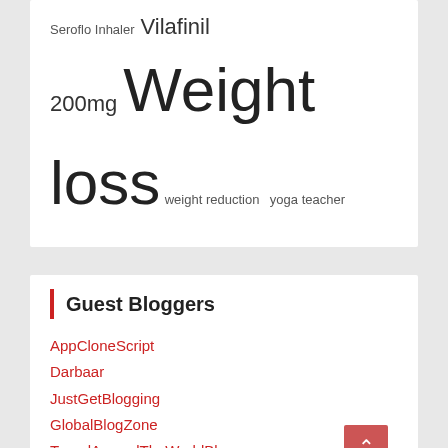Seroflo Inhaler  Vilafinil 200mg  Weight loss  weight reduction  yoga teacher
Guest Bloggers
AppCloneScript
Darbaar
JustGetBlogging
GlobalBlogZone
TravelAroundTheWorldBlog
EcoGujju
DigitalMarketingMaterial
RealEstateWorldBlog
DogsHostel
POPULAR APPS